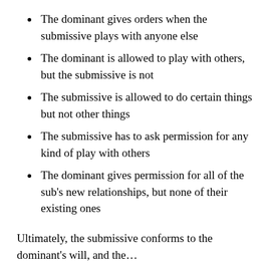The dominant gives orders when the submissive plays with anyone else
The dominant is allowed to play with others, but the submissive is not
The submissive is allowed to do certain things but not other things
The submissive has to ask permission for any kind of play with others
The dominant gives permission for all of the sub's new relationships, but none of their existing ones
Ultimately, the submissive conforms to the dominant's will, and the…